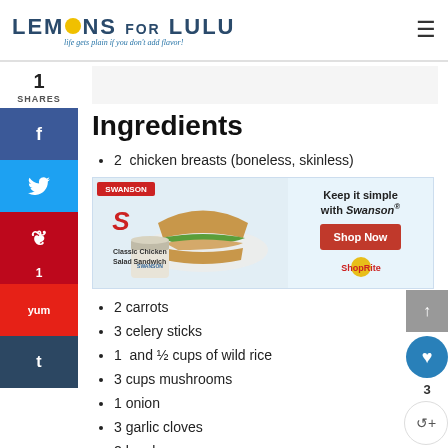LEMONS FOR LULU — Life gets plain if you don't add flavor!
Ingredients
2  chicken breasts (boneless, skinless)
[Figure (photo): Swanson advertisement showing Classic Chicken Salad Sandwich with a can of Swanson chicken, and text 'Keep it simple with Swanson® Shop Now']
2 carrots
3 celery sticks
1  and ½ cups of wild rice
3 cups mushrooms
1 onion
3 garlic cloves
2 bay leaves